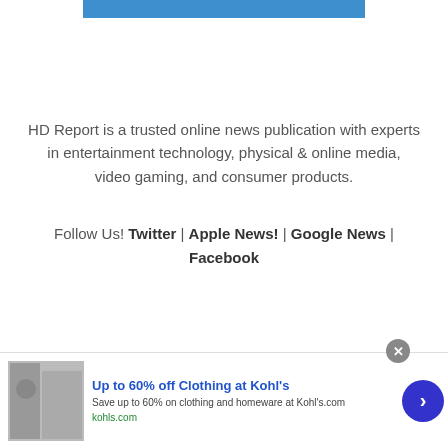[Figure (other): Blue horizontal bar at top of page]
HD Report is a trusted online news publication with experts in entertainment technology, physical & online media, video gaming, and consumer products.
Follow Us! Twitter | Apple News! | Google News | Facebook
[Figure (infographic): Advertisement banner for Kohl's: 'Up to 60% off Clothing at Kohl's. Save up to 60% on clothing and homeware at Kohl's.com. kohls.com']